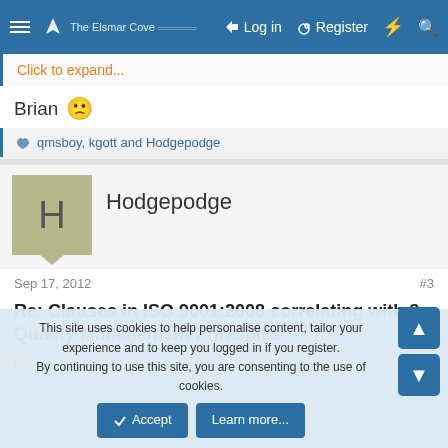The Elsmar Cove | Log in | Register
Click to expand...
Brian 🙁
👍 qmsboy, kgott and Hodgepodge
Hodgepodge
Sep 17, 2012   #3
Re: Clauses in ISO 9001:2008 correlating with 8 Quality Management Principles
This site uses cookies to help personalise content, tailor your experience and to keep you logged in if you register.
By continuing to use this site, you are consenting to the use of cookies.
Accept   Learn more...